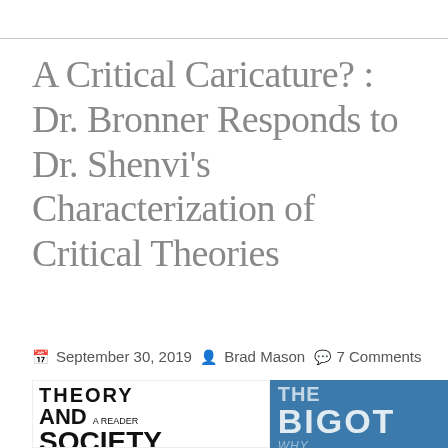A Critical Caricature? : Dr. Bronner Responds to Dr. Shenvi's Characterization of Critical Theories
September 30, 2019   Brad Mason   7 Comments
[Figure (photo): Two book covers side by side: left shows 'Theory and Society: A Reader' edited by Max Horkheimer et al.; right shows 'The Bigot' with blue background.]